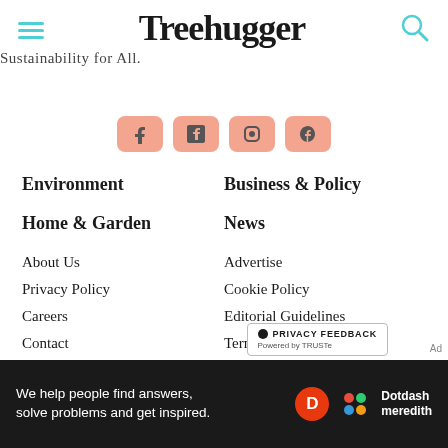Treehugger — Sustainability for All.
[Figure (illustration): Four social media icon buttons with salmon/pink rounded square backgrounds]
Environment
Business & Policy
Home & Garden
News
About Us
Advertise
Privacy Policy
Cookie Policy
Careers
Editorial Guidelines
Contact
Terms of Use
California Privacy Notice
Do Not Sell My Personal Information
[Figure (logo): Privacy Feedback button powered by TRUSTe]
We help people find answers, solve problems and get inspired. Dotdash Meredith